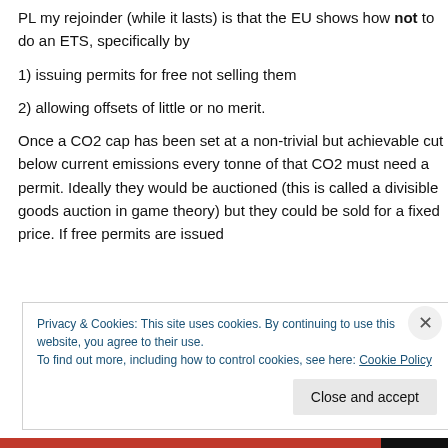PL my rejoinder (while it lasts) is that the EU shows how not to do an ETS, specifically by 1) issuing permits for free not selling them 2) allowing offsets of little or no merit.

Once a CO2 cap has been set at a non-trivial but achievable cut below current emissions every tonne of that CO2 must need a permit. Ideally they would be auctioned (this is called a divisible goods auction in game theory) but they could be sold for a fixed price. If free permits are issued
Privacy & Cookies: This site uses cookies. By continuing to use this website, you agree to their use.
To find out more, including how to control cookies, see here: Cookie Policy